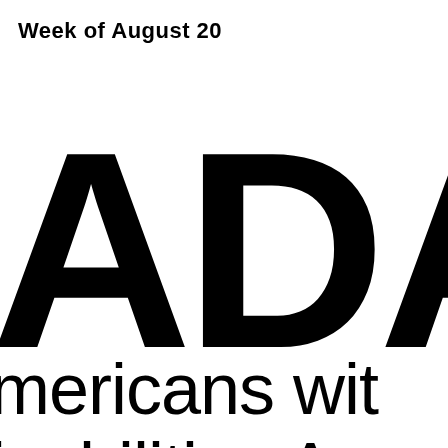Week of August 20
[Figure (logo): Large bold letters 'ADA' cropped — showing partial letters of the Americans with Disabilities Act logo acronym in very large black bold sans-serif type]
mericans wit
isabilities Ac